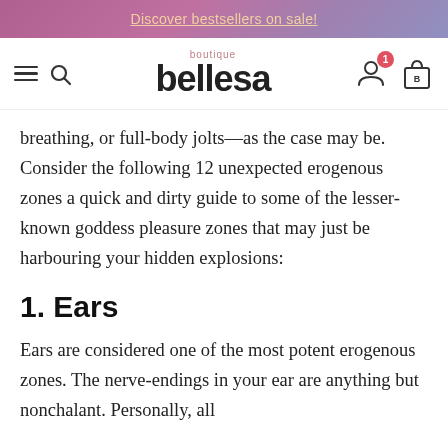Discover bestsellers on sale!
[Figure (screenshot): Bellesa Boutique navigation bar with hamburger menu, search icon, logo, account icon with badge showing 1, and shopping bag icon]
breathing, or full-body jolts—as the case may be. Consider the following 12 unexpected erogenous zones a quick and dirty guide to some of the lesser-known goddess pleasure zones that may just be harbouring your hidden explosions:
1. Ears
Ears are considered one of the most potent erogenous zones. The nerve-endings in your ear are anything but nonchalant. Personally, all